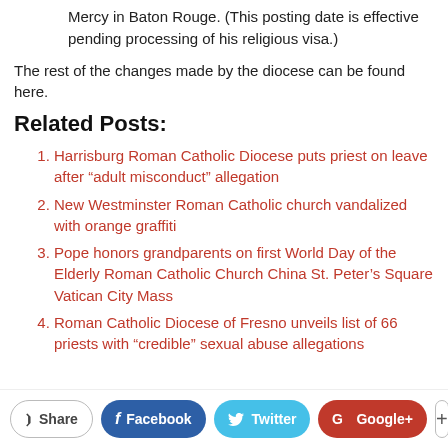Mercy in Baton Rouge. (This posting date is effective pending processing of his religious visa.)
The rest of the changes made by the diocese can be found here.
Related Posts:
Harrisburg Roman Catholic Diocese puts priest on leave after “adult misconduct” allegation
New Westminster Roman Catholic church vandalized with orange graffiti
Pope honors grandparents on first World Day of the Elderly Roman Catholic Church China St. Peter’s Square Vatican City Mass
Roman Catholic Diocese of Fresno unveils list of 66 priests with “credible” sexual abuse allegations